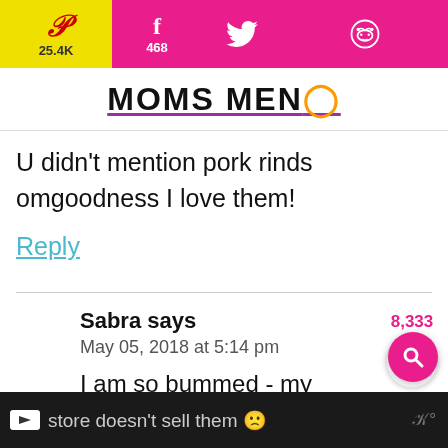25.4K | 468 | Twitter | Reddit — MOMS MENU
U didn't mention pork rinds omgoodness I love them!
Reply
Sabra says
May 05, 2018 at 5:14 pm

I am so bummed - my store doesn't sell them 🙁
Ad — store doesn't sell them 🙁 — w°